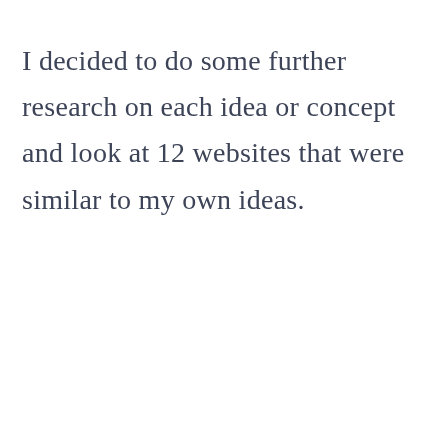I decided to do some further research on each idea or concept and look at 12 websites that were similar to my own ideas.